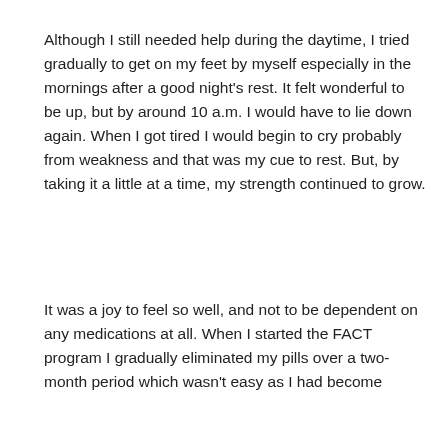Although I still needed help during the daytime, I tried gradually to get on my feet by myself especially in the mornings after a good night's rest. It felt wonderful to be up, but by around 10 a.m. I would have to lie down again. When I got tired I would begin to cry probably from weakness and that was my cue to rest. But, by taking it a little at a time, my strength continued to grow.
It was a joy to feel so well, and not to be dependent on any medications at all. When I started the FACT program I gradually eliminated my pills over a two-month period which wasn't easy as I had become